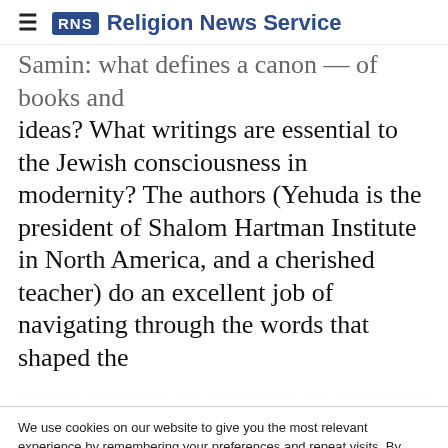RNS Religion News Service
Samin: what defines a canon — of books and ideas? What writings are essential to the Jewish consciousness in modernity? The authors (Yehuda is the president of Shalom Hartman Institute in North America, and a cherished teacher) do an excellent job of navigating through the words that shaped the [continues below]
We use cookies on our website to give you the most relevant experience by remembering your preferences and repeat visits. By clicking "Accept All", you consent to the use of ALL the cookies. However, you may visit "Cookie Settings" to provide a controlled consent.